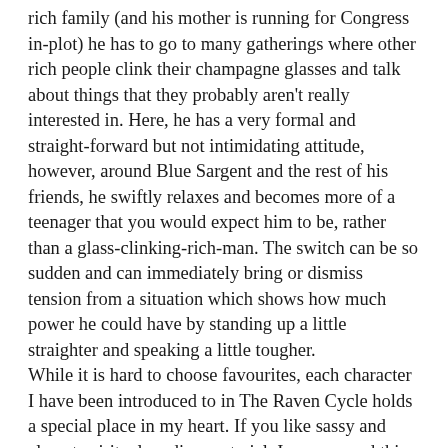rich family (and his mother is running for Congress in-plot) he has to go to many gatherings where other rich people clink their champagne glasses and talk about things that they probably aren't really interested in. Here, he has a very formal and straight-forward but not intimidating attitude, however, around Blue Sargent and the rest of his friends, he swiftly relaxes and becomes more of a teenager that you would expect him to be, rather than a glass-clinking-rich-man. The switch can be so sudden and can immediately bring or dismiss tension from a situation which shows how much power he could have by standing up a little straighter and speaking a little tougher.
While it is hard to choose favourites, each character I have been introduced to in The Raven Cycle holds a special place in my heart. If you like sassy and almost spiritual reading material, I recommend this series to you. Maybe you like plain old romance-with-its-issues type of books, this book would still be a great read.
This is a series I will adore for a very long time, and if you read